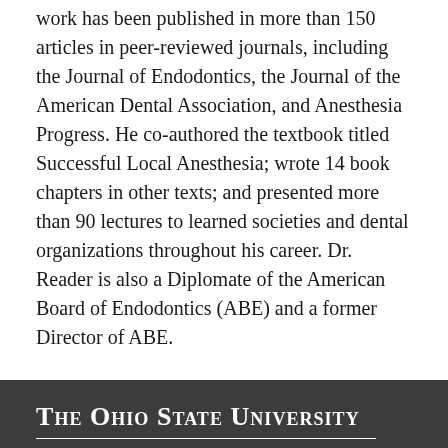work has been published in more than 150 articles in peer-reviewed journals, including the Journal of Endodontics, the Journal of the American Dental Association, and Anesthesia Progress. He co-authored the textbook titled Successful Local Anesthesia; wrote 14 book chapters in other texts; and presented more than 90 lectures to learned societies and dental organizations throughout his career. Dr. Reader is also a Diplomate of the American Board of Endodontics (ABE) and a former Director of ABE.
The Ohio State University
© 2022, The Ohio State University College of Dentistry
Postle Hall
305 W. 12th Avenue
Columbus, OH 43210-1267